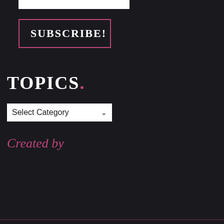[Figure (other): White rectangular bar at top of page]
SUBSCRIBE!
TOPICS.
[Figure (other): Select Category dropdown widget with white background and chevron arrow]
Created by